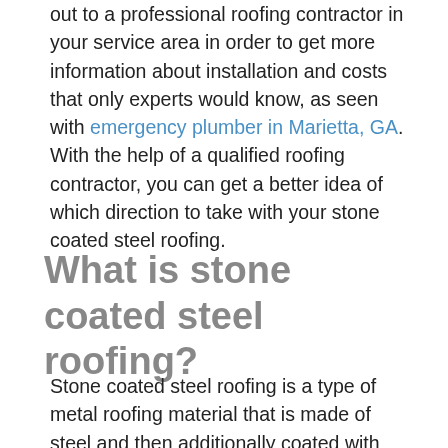out to a professional roofing contractor in your service area in order to get more information about installation and costs that only experts would know, as seen with emergency plumber in Marietta, GA. With the help of a qualified roofing contractor, you can get a better idea of which direction to take with your stone coated steel roofing.
What is stone coated steel roofing?
Stone coated steel roofing is a type of metal roofing material that is made of steel and then additionally coated with stone chips that are attached to the steel with an acrylic film. The benefit of having a coating added to the steel